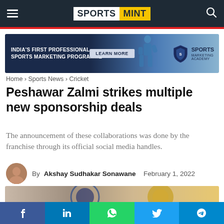SPORTS MINT
[Figure (illustration): Sports Marketing Academy ad banner: India's First Professional Sports Marketing Programme with Learn More button and Sports Marketing Academy logo]
Home › Sports News › Cricket
Peshawar Zalmi strikes multiple new sponsorship deals
The announcement of these collaborations was done by the franchise through its official social media handles.
By Akshay Sudhakar Sonawane   February 1, 2022
[Figure (photo): Partial article image showing Peshawar Zalmi related photo, cropped at bottom]
f  in  WhatsApp  Twitter  Telegram social share bar